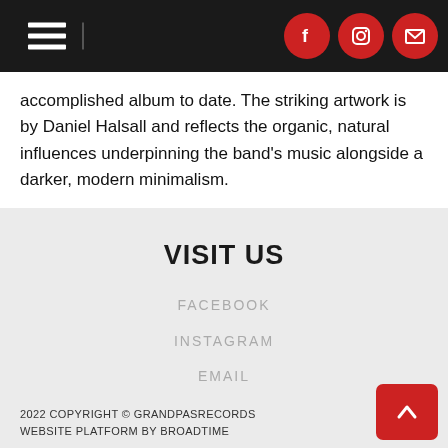Navigation header with hamburger menu and social icons (Facebook, Instagram, Email)
accomplished album to date. The striking artwork is by Daniel Halsall and reflects the organic, natural influences underpinning the band's music alongside a darker, modern minimalism.
VISIT US
FACEBOOK
INSTAGRAM
EMAIL
2022 COPYRIGHT © GRANDPASRECORDS
WEBSITE PLATFORM BY BROADTIME